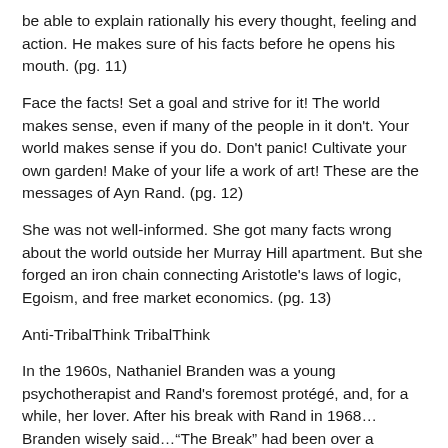be able to explain rationally his every thought, feeling and action. He makes sure of his facts before he opens his mouth. (pg. 11)
Face the facts! Set a goal and strive for it! The world makes sense, even if many of the people in it don't. Your world makes sense if you do. Don't panic! Cultivate your own garden! Make of your life a work of art! These are the messages of Ayn Rand. (pg. 12)
She was not well-informed. She got many facts wrong about the world outside her Murray Hill apartment. But she forged an iron chain connecting Aristotle's laws of logic, Egoism, and free market economics. (pg. 13)
Anti-TribalThink TribalThink
In the 1960s, Nathaniel Branden was a young psychotherapist and Rand's foremost protégé, and, for a while, her lover. After his break with Rand in 1968…Branden wisely said…"The Break" had been over a personal matter, not a philosophical one…And, he added, "The Break might